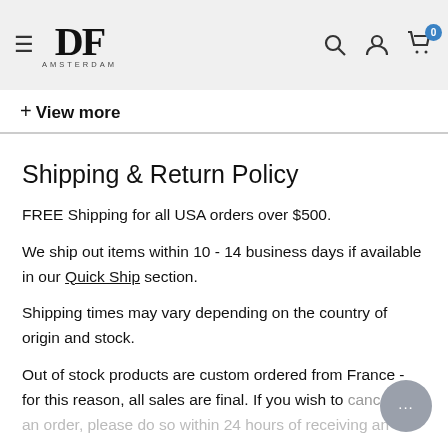DF AMSTERDAM — navigation header with logo, search, account, and cart icons
+ View more
Shipping & Return Policy
FREE Shipping for all USA orders over $500.
We ship out items within 10 - 14 business days if available in our Quick Ship section.
Shipping times may vary depending on the country of origin and stock.
Out of stock products are custom ordered from France - for this reason, all sales are final. If you wish to cancel an order, please do so within 24 hours of receiving an